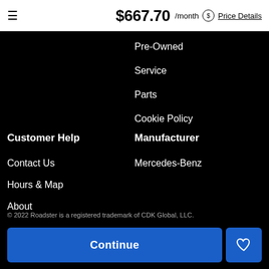$667.70 /month  Price Details
Pre-Owned
Service
Parts
Cookie Policy
Customer Help
Manufacturer
Contact Us
Hours & Map
About
Mercedes-Benz
© 2022 Roadster is a registered trademark of CDK Global, LLC.
Continue